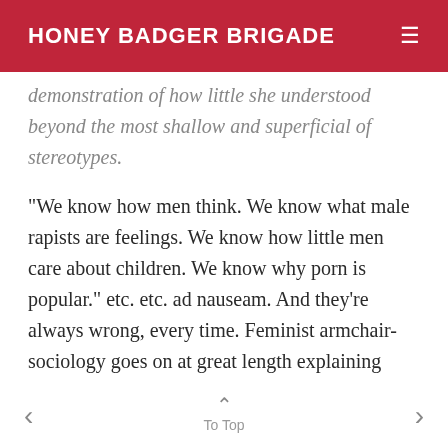HONEY BADGER BRIGADE
demonstration of how little she understood beyond the most shallow and superficial of stereotypes.
“We know how men think. We know what male rapists are feelings. We know how little men care about children. We know why porn is popular.” etc. etc. ad nauseam. And they’re always wrong, every time. Feminist armchair-sociology goes on at great length explaining why men behave the way they do, why male psyches are damaged or misguided, and what’s
< To Top >